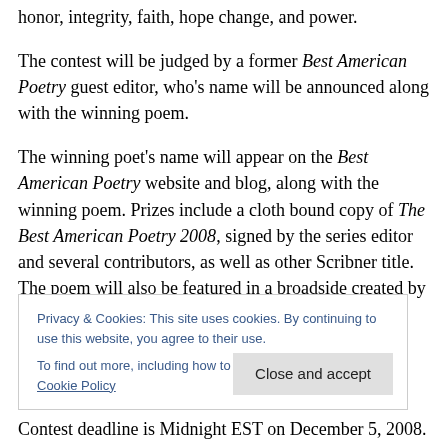honor, integrity, faith, hope change, and power.
The contest will be judged by a former Best American Poetry guest editor, who's name will be announced along with the winning poem.
The winning poet's name will appear on the Best American Poetry website and blog, along with the winning poem. Prizes include a cloth bound copy of The Best American Poetry 2008, signed by the series editor and several contributors, as well as other Scribner title. The poem will also be featured in a broadside created by artist Jenny
Privacy & Cookies: This site uses cookies. By continuing to use this website, you agree to their use.
To find out more, including how to control cookies, see here: Cookie Policy
Close and accept
Contest deadline is Midnight EST on December 5, 2008.